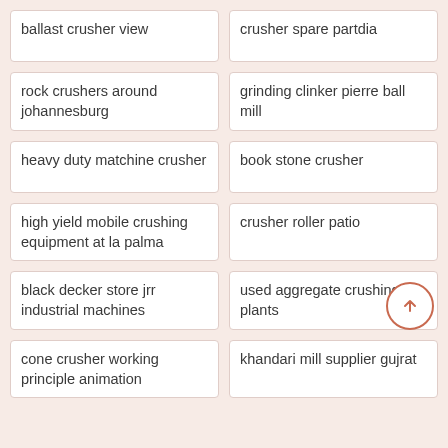ballast crusher view
crusher spare partdia
rock crushers around johannesburg
grinding clinker pierre ball mill
heavy duty matchine crusher
book stone crusher
high yield mobile crushing equipment at la palma
crusher roller patio
black decker store jrr industrial machines
used aggregate crushing plants
cone crusher working principle animation
khandari mill supplier gujrat